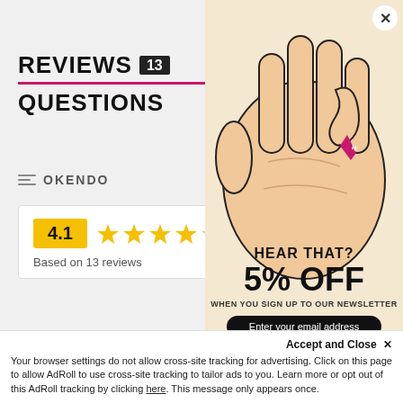REVIEWS 13
QUESTIONS
OKENDO
4.1 ★★★★☆ Based on 13 reviews
5 Stars
[Figure (illustration): Advertisement overlay showing a hand holding a hearing aid with text: HEAR THAT? 5% OFF WHEN YOU SIGN UP TO OUR NEWSLETTER and an email input field. A close (X) button is in the top right corner.]
Accept and Close ✕
Your browser settings do not allow cross-site tracking for advertising. Click on this page to allow AdRoll to use cross-site tracking to tailor ads to you. Learn more or opt out of this AdRoll tracking by clicking here. This message only appears once.